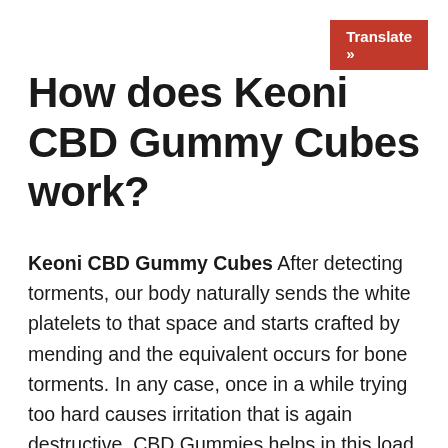[Figure (other): Red 'Translate »' button in top-right corner]
How does Keoni CBD Gummy Cubes work?
Keoni CBD Gummy Cubes After detecting torments, our body naturally sends the white platelets to that space and starts crafted by mending and the equivalent occurs for bone torments. In any case, once in a while trying too hard causes irritation that is again destructive. CBD Gummies helps in this load of cases and makes your insusceptible more grounded for battling hurts. This additionally disintegrates harmful fixations and helps over the long haul by not permitting torments to try and get everything rolling. Hemp and different concentrates utilized have